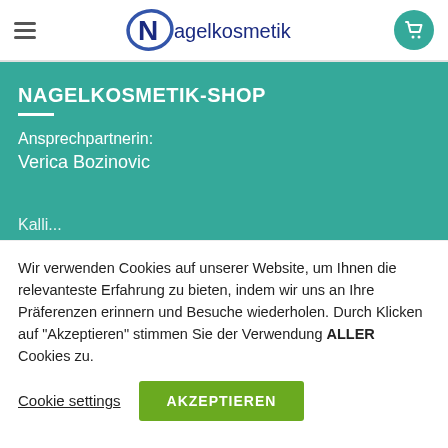Nagelkosmetik
NAGELKOSMETIK-SHOP
Ansprechpartnerin:
Verica Bozinovic
Wir verwenden Cookies auf unserer Website, um Ihnen die relevanteste Erfahrung zu bieten, indem wir uns an Ihre Präferenzen erinnern und Besuche wiederholen. Durch Klicken auf "Akzeptieren" stimmen Sie der Verwendung ALLER Cookies zu.
Cookie settings
AKZEPTIEREN